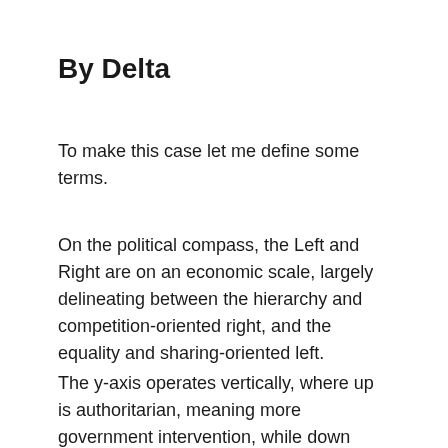By Delta
To make this case let me define some terms.
On the political compass, the Left and Right are on an economic scale, largely delineating between the hierarchy and competition-oriented right, and the equality and sharing-oriented left.
The y-axis operates vertically, where up is authoritarian, meaning more government intervention, while down